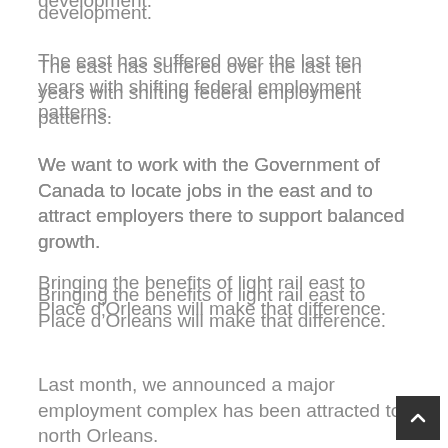development.
The east has suffered over the last ten years with shifting federal employment patterns.
We want to work with the Government of Canada to locate jobs in the east and to attract employers there to support balanced growth.
Bringing the benefits of light rail east to Place d’Orleans will make that difference.
Last month, we announced a major employment complex has been attracted to north Orleans.
I believe Stage 2 will give us what we need as a team to make the case for bringing more federal and private sector jobs to Orleans.